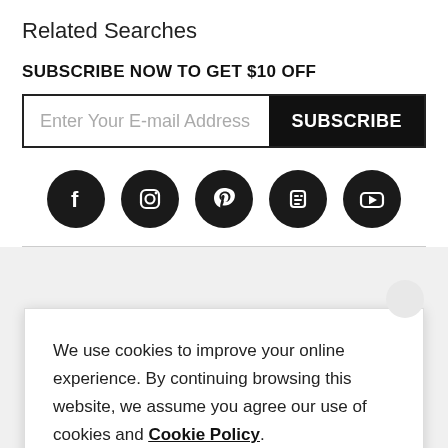Related Searches
SUBSCRIBE NOW TO GET $10 OFF
[Figure (screenshot): Email subscription form with input field 'Enter Your E-mail Address' and a black SUBSCRIBE button]
[Figure (infographic): Social media icons: Facebook, Instagram, Pinterest, Blogger, YouTube — all white icons on black circles]
We use cookies to improve your online experience. By continuing browsing this website, we assume you agree our use of cookies and Cookie Policy.
Agree